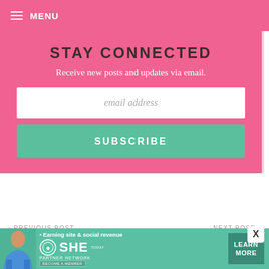MENU
STAY CONNECTED
Receive new posts and updates via email.
email address
SUBSCRIBE
< PREVIOUS POST
SNOWMAN CAKE POPS
NEXT POST >
S'MORE OR LESS
[Figure (infographic): Advertisement banner for SHE Partner Network with text: Earning site & social revenue, LEARN MORE button, BECOME A MEMBER]